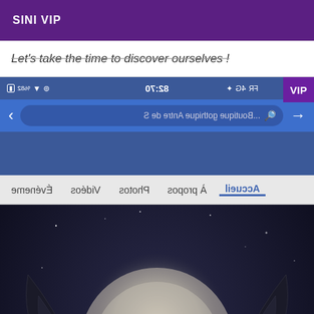SINI VIP
Let's take the time to discover ourselves !
[Figure (screenshot): Mirrored Facebook mobile browser screenshot showing a gothic store page 'Boutique gothique Antre de S...' with status bar showing 07:28, 4G, FR, 82% battery, VIP badge, navigation tabs (Accueil, À propos, Photos, Vidéos, Événeme...) all displayed mirrored/reversed]
[Figure (illustration): Gothic fantasy digital illustration of a winged woman with blue hair holding a rose, set against a large full moon in a dark starry sky. The figure has both dark feathered wings and white/light wings spread wide.]